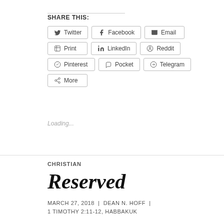SHARE THIS:
Twitter
Facebook
Email
Print
LinkedIn
Reddit
Pinterest
Pocket
Telegram
More
Loading...
CHRISTIAN
Reserved
MARCH 27, 2018 | DEAN N. HOFF | 1 TIMOTHY 2:11-12, HABBAKUK